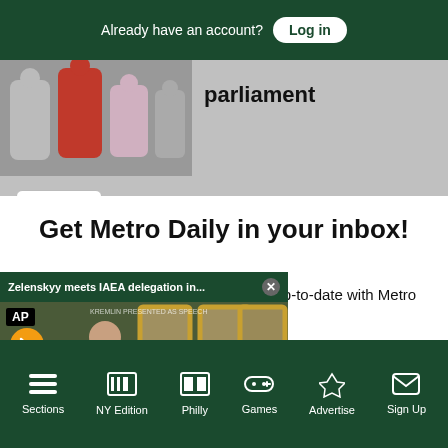Already have an account? Log in
parliament
Close
Get Metro Daily in your inbox!
Join the tens of thousands who stay up-to-date with Metro Daily newsletters.
[Figure (screenshot): Video popup: Zelenskyy meets IAEA delegation in... with AP logo, mute button, and caption ZELENSKYY MEETS IAEA DELEGATION IN]
tter
Sections  NY Edition  Philly  Games  Advertise  Sign Up